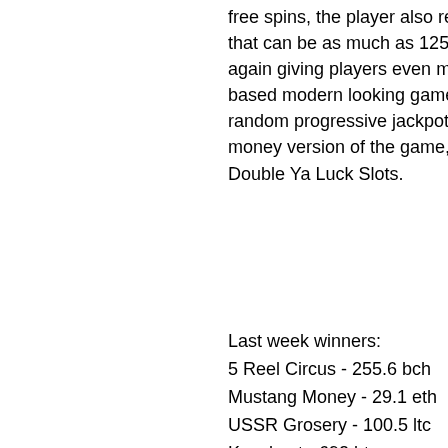free spins, the player also receives a bonus based on his position in the race that can be as much as 125 coins. The free spins bonus game can be triggered again giving players even more excitement and fun in this fast paced and water based modern looking game that includes a random progressive jackpot. The random progressive jackpot can be won at any time when playing the real money version of the game, economics of poker the effect of systemic change. Double Ya Luck Slots.
Last week winners:
5 Reel Circus - 255.6 bch
Mustang Money - 29.1 eth
USSR Grosery - 100.5 ltc
Knockout - 692 btc
World Soccer Slot 2 - 630.9 dog
Thunderstruck - 294.8 eth